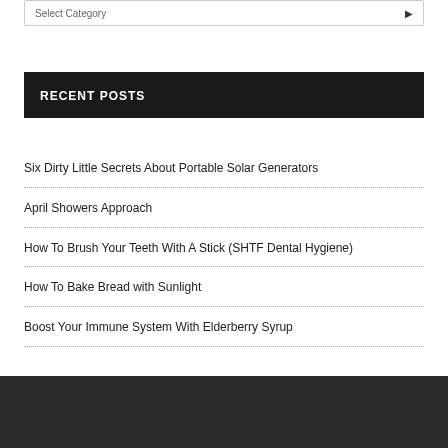Select Category
RECENT POSTS
Six Dirty Little Secrets About Portable Solar Generators
April Showers Approach
How To Brush Your Teeth With A Stick (SHTF Dental Hygiene)
How To Bake Bread with Sunlight
Boost Your Immune System With Elderberry Syrup